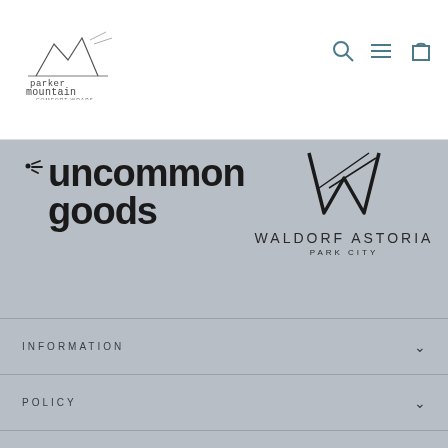[Figure (logo): Parker Mountain Comfort Wraps handwritten logo]
[Figure (logo): Navigation icons: search, hamburger menu, shopping bag]
[Figure (logo): Uncommon Goods logo in bold black text with sparkle icon]
[Figure (logo): Waldorf Astoria Park City logo with W monogram]
INFORMATION
POLICY
SIGN UP AND SAVE
[Figure (infographic): Payment method icons: AMEX, Apple Pay, Diners Club, Discover, Meta Pay, Google Pay, Mastercard, PayPal, Shop Pay, Venmo, Visa]